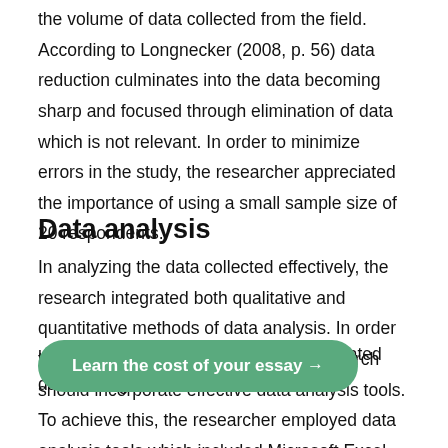the volume of data collected from the field. According to Longnecker (2008, p. 56) data reduction culminates into the data becoming sharp and focused through elimination of data which is not relevant. In order to minimize errors in the study, the researcher appreciated the importance of using a small sample size of 20 respondents.
Data analysis
In analyzing the data collected effectively, the research integrated both qualitative and quantitative methods of data analysis. In order to be effective in data analysis, the research should incorporate effective data analysis tools. To achieve this, the researcher employed data analysis tools which included Microsoft Excel and Statistical Package for Social Sciences (SPSS). The computer or these tools to be used effectively, the researcher incorporated data coding
Learn the cost of your essay →